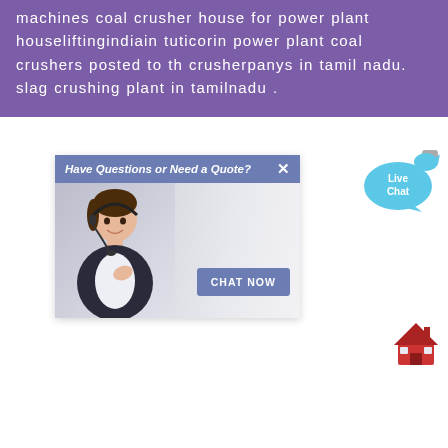machines coal crusher house for power plant houseliftingindiain tuticorin power plant coal crushers posted to th crusherpanys in tamil nadu. slag crushing plant in tamilnadu .
[Figure (screenshot): Live chat widget popup with header 'Have Questions or Need a Quote?' and a CHAT NOW button, showing a customer service representative with a headset. A 'Live Chat' speech bubble icon appears to the upper right.]
[Figure (illustration): Small red house emoji/icon in the bottom right corner.]